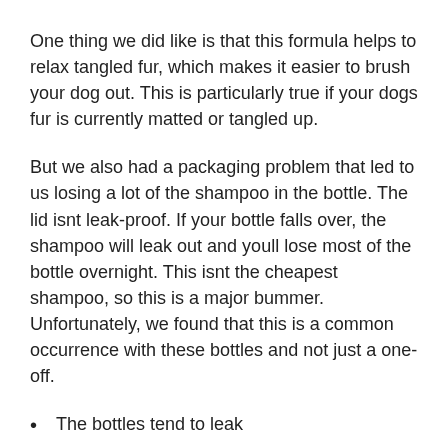One thing we did like is that this formula helps to relax tangled fur, which makes it easier to brush your dog out. This is particularly true if your dogs fur is currently matted or tangled up.
But we also had a packaging problem that led to us losing a lot of the shampoo in the bottle. The lid isnt leak-proof. If your bottle falls over, the shampoo will leak out and youll lose most of the bottle overnight. This isnt the cheapest shampoo, so this is a major bummer. Unfortunately, we found that this is a common occurrence with these bottles and not just a one-off.
The bottles tend to leak
Doesnt prevent stinky dog smell